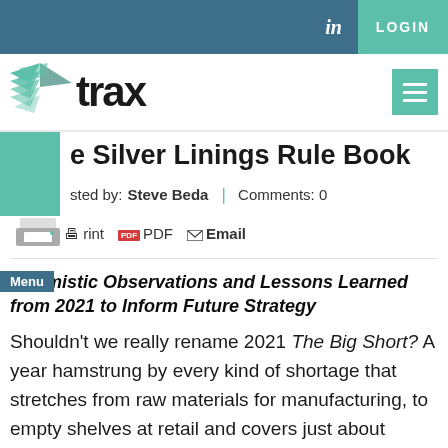in LOGIN
[Figure (logo): Trax logo with teal wing icon and bold 'trax' text]
The Silver Linings Rule Book
Posted by: Steve Beda  Comments: 0
Print  PDF  Email
Optimistic Observations and Lessons Learned from 2021 to Inform Future Strategy
Shouldn't we really rename 2021 The Big Short? A year hamstrung by every kind of shortage that stretches from raw materials for manufacturing, to empty shelves at retail and covers just about everything in